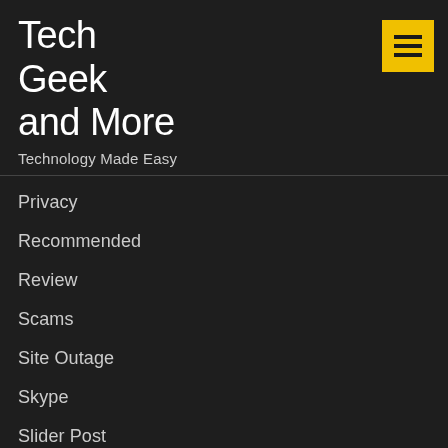Tech Geek and More
Technology Made Easy
Privacy
Recommended
Review
Scams
Site Outage
Skype
Slider Post
Social Media
Software